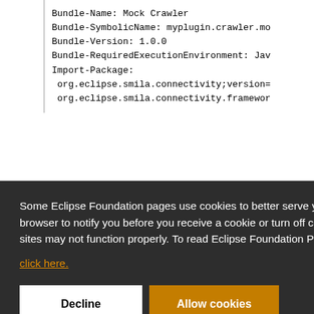Bundle-Name: Mock Crawler
Bundle-SymbolicName: myplugin.crawler.mo
Bundle-Version: 1.0.0
Bundle-RequiredExecutionEnvironment: Jav
Import-Package:
 org.eclipse.smila.connectivity;version=
 org.eclipse.smila.connectivity.framewor
Some Eclipse Foundation pages use cookies to better serve you when you return to the site. You can set your browser to notify you before you receive a cookie or turn off cookies. If you do so, however, some areas of some sites may not function properly. To read Eclipse Foundation Privacy Policy
click here.
Decline
Allow cookies
Enter "code/gen" as the folder name